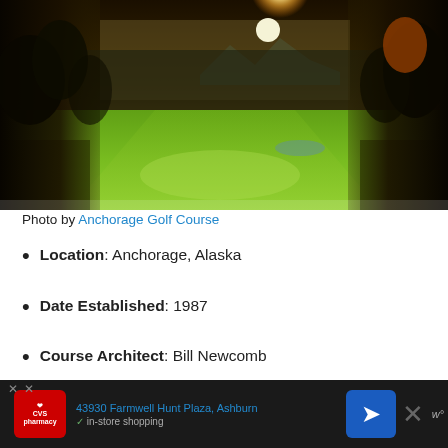[Figure (photo): Golf course fairway with lush green grass, trees on both sides, mountains in background, and bright sun shining through. Anchorage Golf Course.]
Photo by Anchorage Golf Course
Location: Anchorage, Alaska
Date Established: 1987
Course Architect: Bill Newcomb
Highlight / Interesting Fact: Views of three
43930 Farmwell Hunt Plaza, Ashburn | in-store shopping